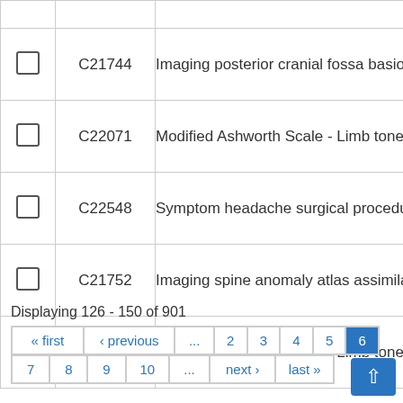|  | Code | Description |
| --- | --- | --- |
|  |  |  |
| ☐ | C21744 | Imaging posterior cranial fossa basion d |
| ☐ | C22071 | Modified Ashworth Scale - Limb tone tes |
| ☐ | C22548 | Symptom headache surgical procedure |
| ☐ | C21752 | Imaging spine anomaly atlas assimilatio |
| ☐ | C22106 | Modified Ashworth Scale - Limb tone tes |
Displaying 126 - 150 of 901
« first  ‹ previous  ...  2  3  4  5  6  7  8  9  10  ...  next ›  last »